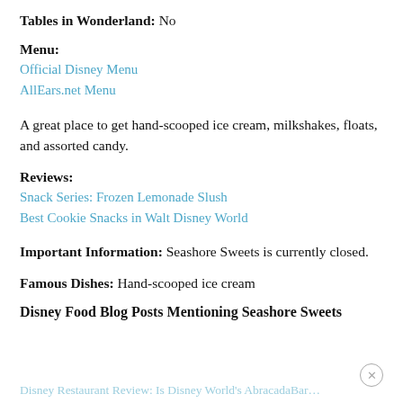Tables in Wonderland: No
Menu:
Official Disney Menu
AllEars.net Menu
A great place to get hand-scooped ice cream, milkshakes, floats, and assorted candy.
Reviews:
Snack Series: Frozen Lemonade Slush
Best Cookie Snacks in Walt Disney World
Important Information: Seashore Sweets is currently closed.
Famous Dishes: Hand-scooped ice cream
Disney Food Blog Posts Mentioning Seashore Sweets
Disney Restaurant Review: Is Disney World's AbracadaBar…